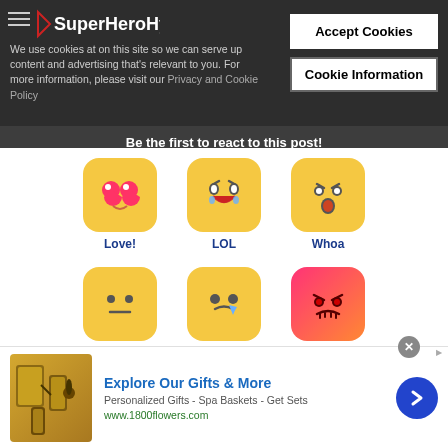SuperHeroHype
We use cookies at on this site so we can serve up content and advertising that's relevant to you. For more information, please visit our Privacy and Cookie Policy
Accept Cookies
Cookie Information
Be the first to react to this post!
[Figure (infographic): Six emoji reaction buttons in a 3x2 grid: Love! (heart eyes), LOL (laughing with tears), Whoa (surprised), Shrug (neutral), Sob (crying), Grrr (angry)]
[Figure (infographic): Advertisement banner for 1800flowers.com: Explore Our Gifts & More, Personalized Gifts - Spa Baskets - Get Sets, www.1800flowers.com]